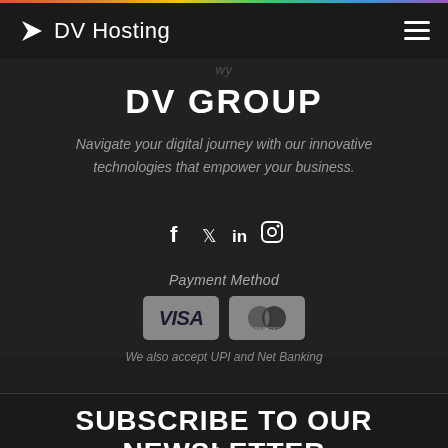DV Hosting
DV GROUP
Navigate your digital journey with our innovative technologies that empower your business.
[Figure (infographic): Social media icons: Facebook (f), Twitter (bird), LinkedIn (in), Instagram (camera)]
Payment Method
[Figure (logo): VISA and Mastercard payment logos]
We also accept UPI and Net Banking
SUBSCRIBE TO OUR NEWSLETTER
Join Our Newsletter & Marketing Communication. We'll send you news and